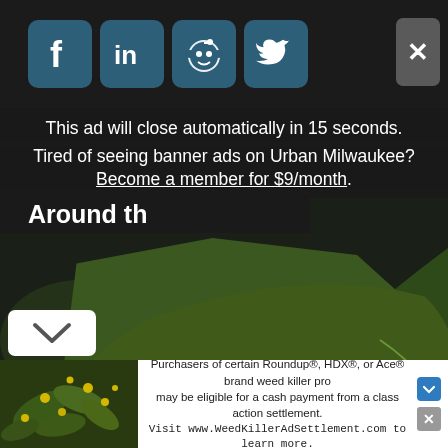[Figure (screenshot): Background image of a hand holding a green leaf with white blotchy damage/disease marks, set against a dark blurred garden background.]
[Figure (screenshot): Social media sharing icons: Facebook, LinkedIn, Reddit, Twitter in dark teal rounded square buttons, with a grey close X button on the right.]
This ad will close automatically in 15 seconds.
Tired of seeing banner ads on Urban Milwaukee? Become a member for $9/month.
Around th
[Figure (screenshot): Chevron/down arrow button (white rounded rectangle) at lower left.]
[Figure (screenshot): Bottom advertisement banner: left side shows small image of yellow flowers/plant; right side shows text about Roundup, HDX, Ace brand weed killer class action settlement with arrow and close icons.]
Purchasers of certain Roundup®, HDX®, or Ace® brand weed killer pro may be eligible for a cash payment from a class action settlement. Visit www.WeedKillerAdSettlement.com to learn more.